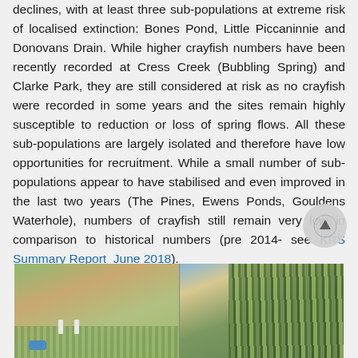declines, with at least three sub-populations at extreme risk of localised extinction: Bones Pond, Little Piccaninnie and Donovans Drain. While higher crayfish numbers have been recently recorded at Cress Creek (Bubbling Spring) and Clarke Park, they are still considered at risk as no crayfish were recorded in some years and the sites remain highly susceptible to reduction or loss of spring flows. All these sub-populations are largely isolated and therefore have low opportunities for recruitment. While a small number of sub-populations appear to have stabilised and even improved in the last two years (The Pines, Ewens Ponds, Gouldens Waterhole), numbers of crayfish still remain very low in comparison to historical numbers (pre 2014- see KRS Summary Report_June 2018).
[Figure (photo): Two side-by-side outdoor photos: left shows a sparse vegetation area with small white marker posts and a blue object on the ground; right shows dense reed/grass vegetation along a path or drain.]